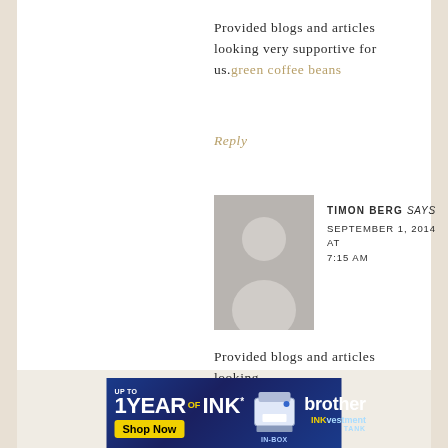Provided blogs and articles looking very supportive for us.green coffee beans
Reply
[Figure (photo): Default avatar placeholder image - grey silhouette of a person on grey background]
TIMON BERG says
SEPTEMBER 1, 2014 AT 7:15 AM
Provided blogs and articles looking
[Figure (other): Brother printer advertisement banner: Up to 1 Year of INK IN-BOX, Shop Now, INKvestment Tank]